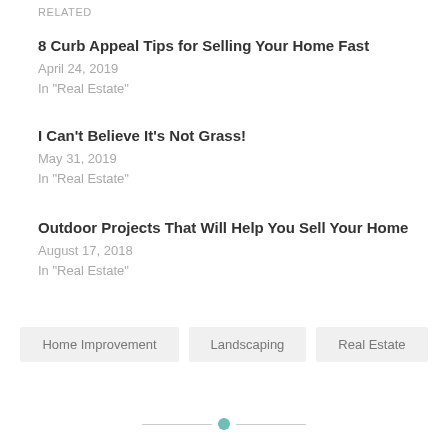RELATED
8 Curb Appeal Tips for Selling Your Home Fast
April 24, 2019
In "Real Estate"
I Can't Believe It's Not Grass!
May 31, 2019
In "Real Estate"
Outdoor Projects That Will Help You Sell Your Home
August 17, 2018
In "Real Estate"
Home Improvement
Landscaping
Real Estate